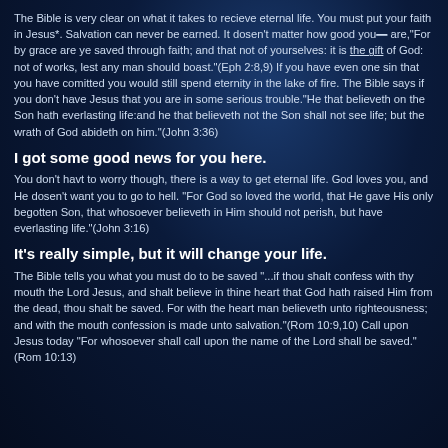The Bible is very clear on what it takes to recieve eternal life. You must put your faith in Jesus*. Salvation can never be earned. It dosen't matter how good you are,"For by grace are ye saved through faith; and that not of yourselves: it is the gift of God: not of works, lest any man should boast."(Eph 2:8,9) If you have even one sin that you have comitted you would still spend eternity in the lake of fire. The Bible says if you don't have Jesus that you are in some serious trouble."He that believeth on the Son hath everlasting life:and he that believeth not the Son shall not see life; but the wrath of God abideth on him."(John 3:36)
I got some good news for you here.
You don't havt to worry though, there is a way to get eternal life. God loves you, and He dosen't want you to go to hell. "For God so loved the world, that He gave His only begotten Son, that whosoever believeth in Him should not perish, but have everlasting life."(John 3:16)
It's really simple, but it will change your life.
The Bible tells you what you must do to be saved "...if thou shalt confess with thy mouth the Lord Jesus, and shalt believe in thine heart that God hath raised Him from the dead, thou shalt be saved. For with the heart man believeth unto righteousness; and with the mouth confession is made unto salvation."(Rom 10:9,10) Call upon Jesus today "For whosoever shall call upon the name of the Lord shall be saved." (Rom 10:13)